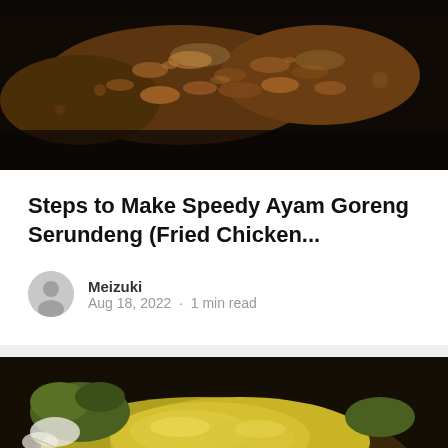[Figure (photo): Close-up photo of fried chicken with crispy brown breaded coating, shot from above on a dark background]
Steps to Make Speedy Ayam Goreng Serundeng (Fried Chicken...
Meizuki
Aug 18, 2022 · 1 min read
[Figure (photo): Close-up photo of food covered in thick yellow-green sauce or gravy, with shredded vegetables, on a plate with a fork visible]
Steps to Make...